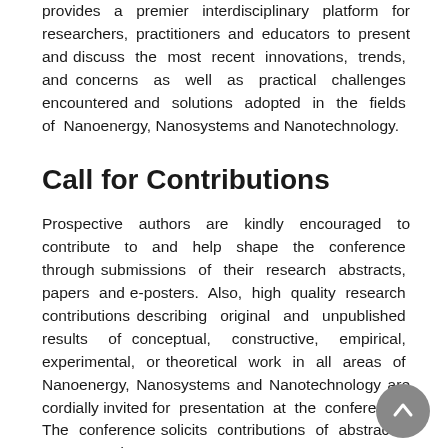provides a premier interdisciplinary platform for researchers, practitioners and educators to present and discuss the most recent innovations, trends, and concerns as well as practical challenges encountered and solutions adopted in the fields of Nanoenergy, Nanosystems and Nanotechnology.
Call for Contributions
Prospective authors are kindly encouraged to contribute to and help shape the conference through submissions of their research abstracts, papers and e-posters. Also, high quality research contributions describing original and unpublished results of conceptual, constructive, empirical, experimental, or theoretical work in all areas of Nanoenergy, Nanosystems and Nanotechnology are cordially invited for presentation at the conference. The conference solicits contributions of abstracts, papers and e-